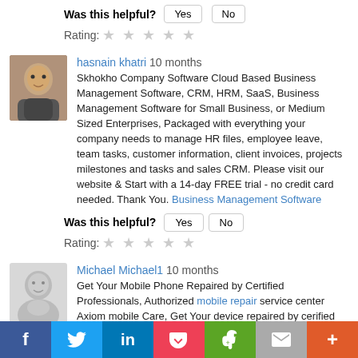Was this helpful? Yes No
Rating: ☆ ☆ ☆ ☆ ☆
hasnain khatri 10 months
Skhokho Company Software Cloud Based Business Management Software, CRM, HRM, SaaS, Business Management Software for Small Business, or Medium Sized Enterprises, Packaged with everything your company needs to manage HR files, employee leave, team tasks, customer information, client invoices, projects milestones and tasks and sales CRM. Please visit our website & Start with a 14-day FREE trial - no credit card needed. Thank You. Business Management Software
Was this helpful? Yes No
Rating: ☆ ☆ ☆ ☆ ☆
Michael Michael1 10 months
Get Your Mobile Phone Repaired by Certified Professionals, Authorized mobile repair service center Axiom mobile Care, Get Your device repaired by cerified Professionals...